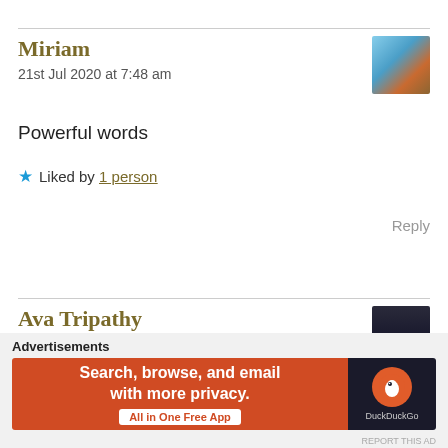Miriam
21st Jul 2020 at 7:48 am
Powerful words
★ Liked by 1 person
Reply
Ava Tripathy
21st Jul 2020 at 7:49 am
[Figure (screenshot): Advertisement banner: DuckDuckGo ad with text 'Search, browse, and email with more privacy. All in One Free App']